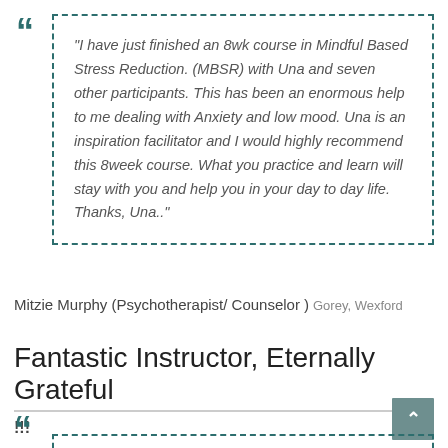"I have just finished an 8wk course in Mindful Based Stress Reduction. (MBSR) with Una and seven other participants. This has been an enormous help to me dealing with Anxiety and low mood. Una is an inspiration facilitator and I would highly recommend this 8week course. What you practice and learn will stay with you and help you in your day to day life. Thanks, Una.."
Mitzie Murphy (Psychotherapist/ Counselor ) Gorey, Wexford
Fantastic Instructor, Eternally Grateful !!!